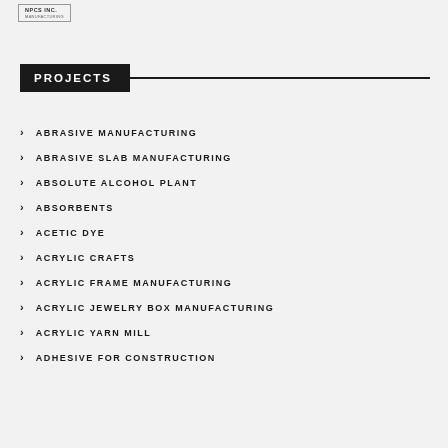MANUFACTURING
PROJECTS
ABRASIVE MANUFACTURING
ABRASIVE SLAB MANUFACTURING
ABSOLUTE ALCOHOL PLANT
ABSORBENTS
ACETIC DYE
ACRYLIC CRAFTS
ACRYLIC FRAME MANUFACTURING
ACRYLIC JEWELRY BOX MANUFACTURING
ACRYLIC YARN MILL
ADHESIVE FOR CONSTRUCTION